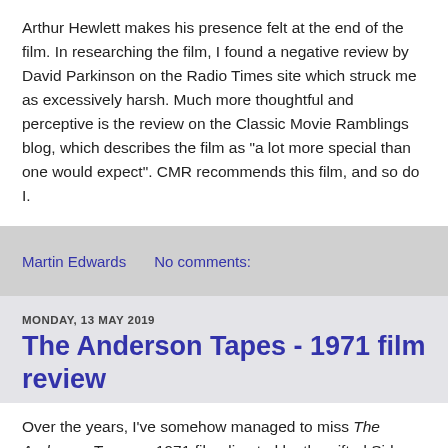Arthur Hewlett makes his presence felt at the end of the film. In researching the film, I found a negative review by David Parkinson on the Radio Times site which struck me as excessively harsh. Much more thoughtful and perceptive is the review on the Classic Movie Ramblings blog, which describes the film as "a lot more special than one would expect". CMR recommends this film, and so do I.
Martin Edwards    No comments:
MONDAY, 13 MAY 2019
The Anderson Tapes - 1971 film review
Over the years, I've somehow managed to miss The Anderson Tapes, a 1971 film directed by the gifted Sidney Lumet, and based on a novel by Lawrence Sanders. It's a heist movie starring Sean Connery at the peak of his powers, and I've long been familiar with the excellent theme tune by Quincy Jones. Finally, I managed to catch up with it, thanks